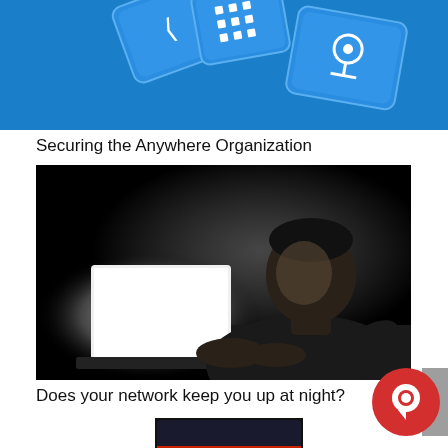[Figure (photo): Blue keyboard keys with technology/network icons on a blue background, partially cropped at top]
Securing the Anywhere Organization
[Figure (photo): Black and white photo of a person sitting in the dark working on a laptop computer, lit only by the laptop screen glow]
Does your network keep you up at night?
[Figure (photo): Partially visible thumbnail image at bottom of page, appears to be a dark device screen]
[Figure (other): Red circular chat/messaging button in bottom right corner]